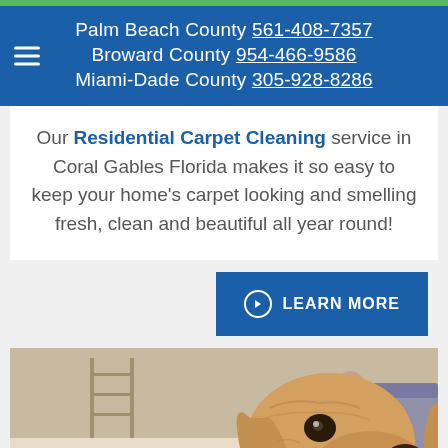Palm Beach County 561-408-7357 | Broward County 954-466-9586 | Miami-Dade County 305-928-8286
Our Residential Carpet Cleaning service in Coral Gables Florida makes it so easy to keep your home's carpet looking and smelling fresh, clean and beautiful all year round!
LEARN MORE
[Figure (photo): A golden retriever dog in the foreground with people sitting on a couch in a living room in the background]